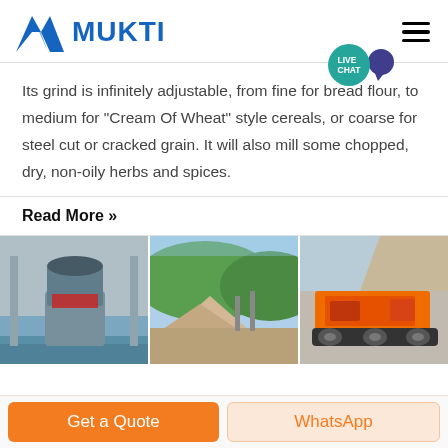MUKTI
Its grind is infinitely adjustable, from fine for bread flour, to medium for "Cream Of Wheat" style cereals, or coarse for steel cut or cracked grain. It will also mill some chopped, dry, non-oily herbs and spices.
Read More »
[Figure (photo): Three side-by-side photos: an industrial milling machine in a factory, a hillside quarry with sand piles, and an orange mobile crushing machine outdoors.]
Get a Quote
WhatsApp